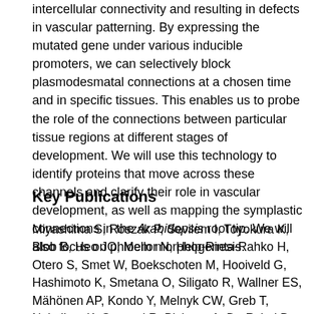intercellular connectivity and resulting in defects in vascular patterning. By expressing the mutated gene under various inducible promoters, we can selectively block plasmodesmatal connections at a chosen time and in specific tissues. This enables us to probe the role of the connections between particular tissue regions at different stages of development. We will use this technology to identify proteins that move across these channels and clarify their role in vascular development, as well as mapping the symplastic connections in the Arabidopsis root tip. We will also focus on phloem morphogenesis.
Key Publications
Miyashima S, Roszak P, Sevilem I, Toyokura K, Blob B, Heo JO, Mellor N, Help-Rinta-Rahko H, Otero S, Smet W, Boekschoten M, Hooiveld G, Hashimoto K, Smetana O, Siligato R, Wallner ES, Mähönen AP, Kondo Y, Melnyk CW, Greb T, Nakajima K, Sozzani R, Bishopp A, De Rybel B, Helariutta Y. (2019) Mobile PEAR transcription factors integrate positional cues to prime cambial